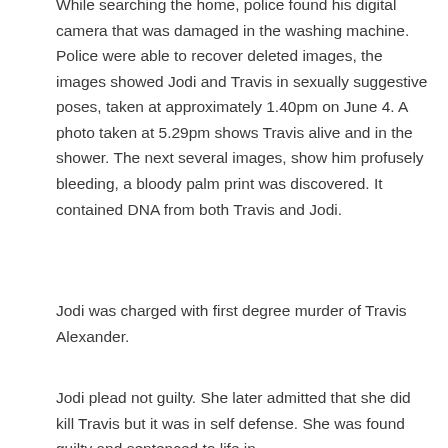While searching the home, police found his digital camera that was damaged in the washing machine. Police were able to recover deleted images, the images showed Jodi and Travis in sexually suggestive poses, taken at approximately 1.40pm on June 4. A photo taken at 5.29pm shows Travis alive and in the shower. The next several images, show him profusely bleeding, a bloody palm print was discovered. It contained DNA from both Travis and Jodi.
Jodi was charged with first degree murder of Travis Alexander.
Jodi plead not guilty. She later admitted that she did kill Travis but it was in self defense. She was found guilty and sentenced to life in